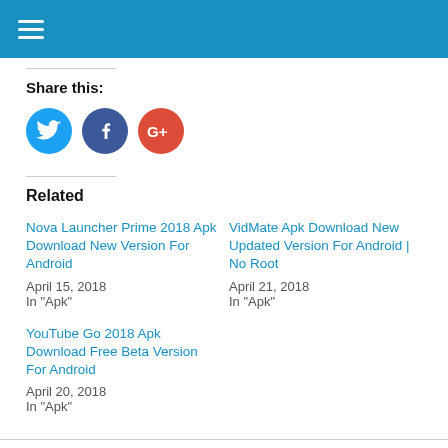Share this:
[Figure (illustration): Three social media icon buttons: Twitter (blue bird), Facebook (dark blue f), Google+ (red G+)]
Related
Nova Launcher Prime 2018 Apk Download New Version For Android
April 15, 2018
In "Apk"
VidMate Apk Download New Updated Version For Android | No Root
April 21, 2018
In "Apk"
YouTube Go 2018 Apk Download Free Beta Version For Android
April 20, 2018
In "Apk"